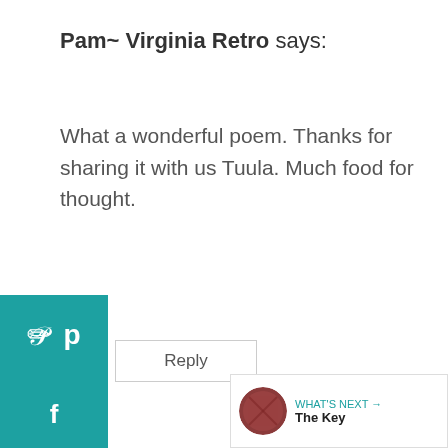Pam~ Virginia Retro says:
What a wonderful poem. Thanks for sharing it with us Tuula. Much food for thought.
Reply
Stephanie says:
I'm so glad you shared this beautiful post with Rose of Inspiration. Thank
[Figure (infographic): Social sharing sidebar buttons: Pinterest (teal) and Facebook (teal)]
[Figure (infographic): Heart/like button (teal circle) and share button (white circle with share icon)]
[Figure (infographic): What's Next widget showing a red textured thumbnail and the text 'The Key']